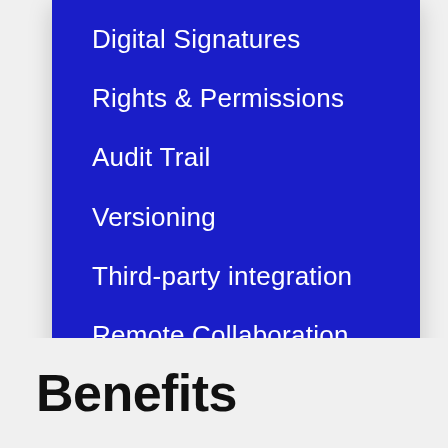Digital Signatures
Rights & Permissions
Audit Trail
Versioning
Third-party integration
Remote Collaboration
Benefits